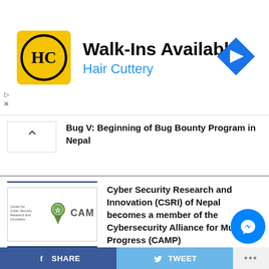[Figure (other): Hair Cuttery advertisement banner with HC logo, Walk-Ins Available text, and navigation icon]
Bug V: Beginning of Bug Bounty Program in Nepal
[Figure (logo): CSRI logo with award icon and CAM text with divider lines]
Cyber Security Research and Innovation (CSRI) of Nepal becomes a member of the Cybersecurity Alliance for Mutual Progress (CAMP)
[Figure (photo): Cyber Security dark blue themed image with Cyber Security title and event label at bottom]
Cyber Security Context in Nepal Event Successfully Conducted; Summary of Event
[Figure (other): Instagram awards $6000 to Saugat thumbnail image]
Instagram awards $6000 to Saugat
SHARE   TWEET   ...